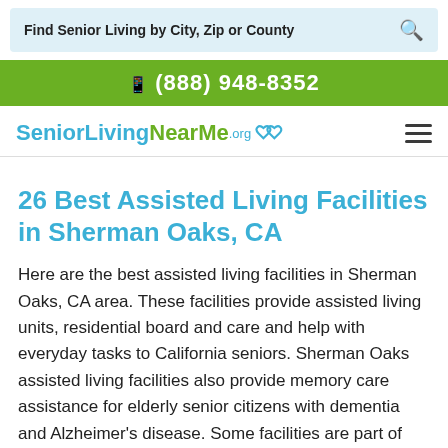Find Senior Living by City, Zip or County
(888) 948-8352
[Figure (logo): SeniorLivingNearMe.org logo with heart icon and hamburger menu]
26 Best Assisted Living Facilities in Sherman Oaks, CA
Here are the best assisted living facilities in Sherman Oaks, CA area. These facilities provide assisted living units, residential board and care and help with everyday tasks to California seniors. Sherman Oaks assisted living facilities also provide memory care assistance for elderly senior citizens with dementia and Alzheimer's disease. Some facilities are part of